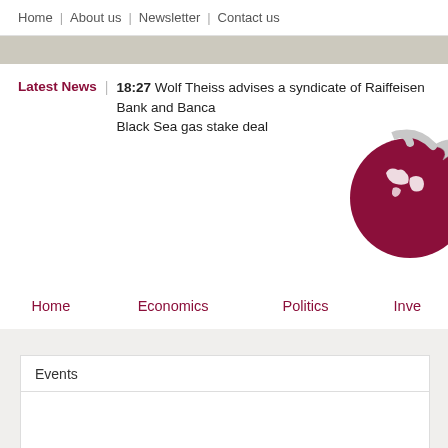Home | About us | Newsletter | Contact us
18:27 Wolf Theiss advises a syndicate of Raiffeisen Bank and Banca... Black Sea gas stake deal
[Figure (illustration): Globe with arrow icon, dark red/maroon colored globe with white continents and a silver arrow wrapping around it]
Home | Economics | Politics | Inve...
Events